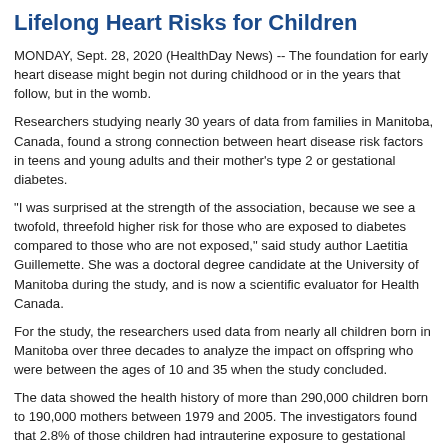Lifelong Heart Risks for Children
MONDAY, Sept. 28, 2020 (HealthDay News) -- The foundation for early heart disease might begin not during childhood or in the years that follow, but in the womb.
Researchers studying nearly 30 years of data from families in Manitoba, Canada, found a strong connection between heart disease risk factors in teens and young adults and their mother's type 2 or gestational diabetes.
"I was surprised at the strength of the association, because we see a twofold, threefold higher risk for those who are exposed to diabetes compared to those who are not exposed," said study author Laetitia Guillemette. She was a doctoral degree candidate at the University of Manitoba during the study, and is now a scientific evaluator for Health Canada.
For the study, the researchers used data from nearly all children born in Manitoba over three decades to analyze the impact on offspring who were between the ages of 10 and 35 when the study concluded.
The data showed the health history of more than 290,000 children born to 190,000 mothers between 1979 and 2005. The investigators found that 2.8% of those children had intrauterine exposure to gestational diabetes and 1.1% to pre-existing type 2 diabetes.
The findings showed that more than 8,700 of the offspring were